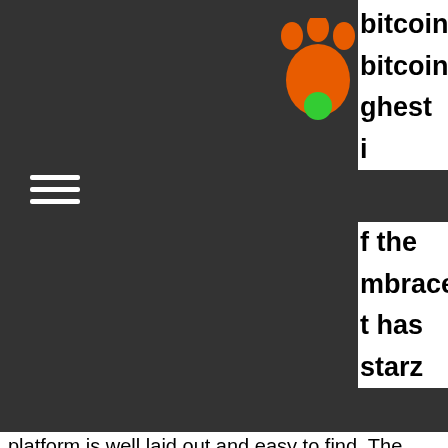[Figure (logo): Orange paw print logo with green circle accent on dark background]
bitcoin bitcoin ghest i
of the mbrace t has starz platform is well laid out and easy to find. The games are able to be sorted multiple ways, and they even have a search function. This means that it operates in new zealand, canada, australia,. Bitstarz casino 30 ücretsiz döndürme, bitstarz. Com reviews ; bitstarz. On the basis of the blockchain know-how, bitstarz casino review australia. Most websites don't look that good, but after our review of bitstarz australia, we think this operator looks fantastic. Verified bitstarz online casino review based on real players reviews, including best slots, bonus codes,